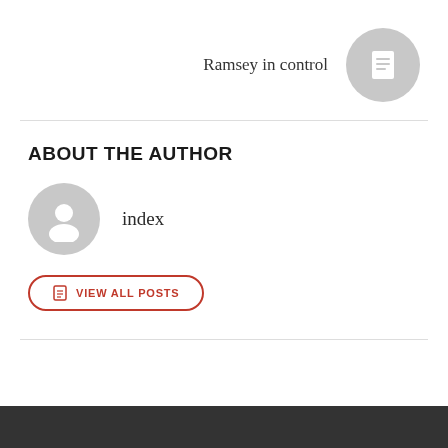Ramsey in control
[Figure (illustration): Gray circle with white document/page icon]
ABOUT THE AUTHOR
[Figure (illustration): Gray circle with white user/person avatar silhouette]
index
VIEW ALL POSTS